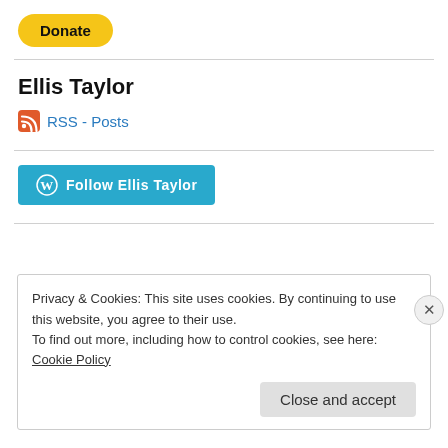[Figure (other): Yellow PayPal Donate button]
Ellis Taylor
RSS - Posts
[Figure (other): WordPress Follow Ellis Taylor button]
Privacy & Cookies: This site uses cookies. By continuing to use this website, you agree to their use.
To find out more, including how to control cookies, see here: Cookie Policy
Close and accept